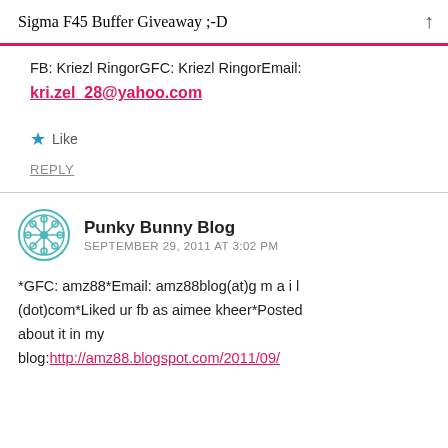Sigma F45 Buffer Giveaway ;-D
FB: Kriezl RingorGFC: Kriezl RingorEmail: kri.zel_28@yahoo.com
Like
REPLY
Punky Bunny Blog  SEPTEMBER 29, 2011 AT 3:02 PM
*GFC: amz88*Email: amz88blog(at)g m a i l (dot)com*Liked ur fb as aimee kheer*Posted about it in my blog:http://amz88.blogspot.com/2011/09/